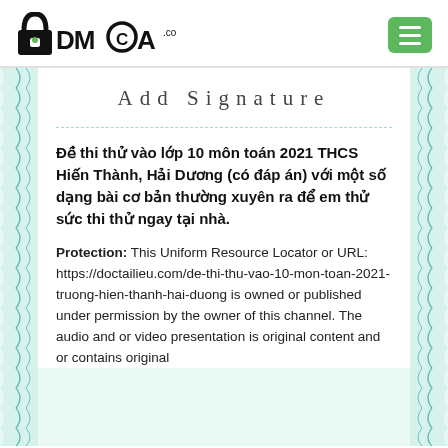DMCA.com [logo] [hamburger menu]
Add Signature
Đề thi thử vào lớp 10 môn toán 2021 THCS Hiến Thành, Hải Dương (có đáp án) với một số dạng bài cơ bản thường xuyên ra để em thử sức thi thử ngay tại nhà.
Protection: This Uniform Resource Locator or URL: https://doctailieu.com/de-thi-thu-vao-10-mon-toan-2021-truong-hien-thanh-hai-duong is owned or published under permission by the owner of this channel. The audio and or video presentation is original content and or contains original